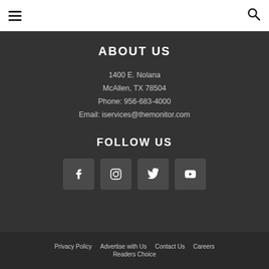Menu | Search
ABOUT US
1400 E. Nolana
McAllen, TX 78504
Phone: 956-683-4000
Email: iservices@themonitor.com
FOLLOW US
[Figure (other): Social media icons: Facebook, Instagram, Twitter, YouTube]
Privacy Policy   Advertise with Us   Contact Us   Careers
Readers Choice